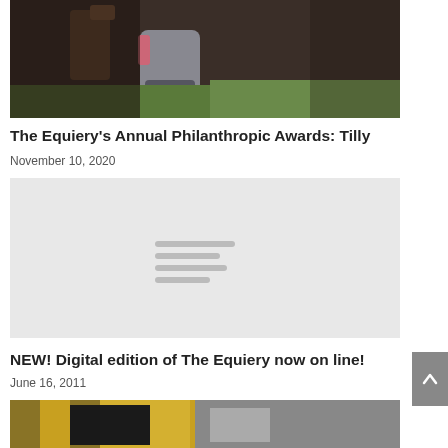[Figure (photo): Close-up photo of a horse's leg/hoof with saddle and bridle visible, outdoor grass background]
The Equiery’s Annual Philanthropic Awards: Tilly
November 10, 2020
[Figure (photo): Placeholder image with loading indicator lines on grey background]
NEW! Digital edition of The Equiery now on line!
June 16, 2011
[Figure (photo): Partial image showing yellow and black colors at bottom of page]